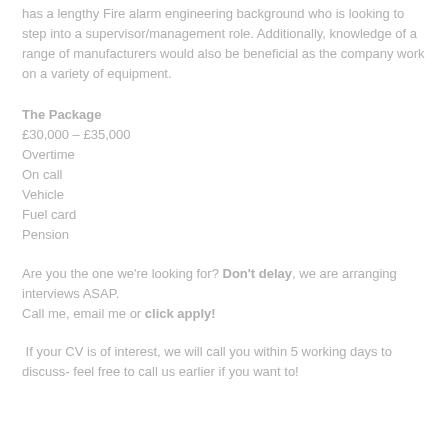has a lengthy Fire alarm engineering background who is looking to step into a supervisor/management role. Additionally, knowledge of a range of manufacturers would also be beneficial as the company work on a variety of equipment.
The Package
£30,000 – £35,000
Overtime
On call
Vehicle
Fuel card
Pension
Are you the one we're looking for? Don't delay, we are arranging interviews ASAP.
Call me, email me or click apply!
If your CV is of interest, we will call you within 5 working days to discuss- feel free to call us earlier if you want to!